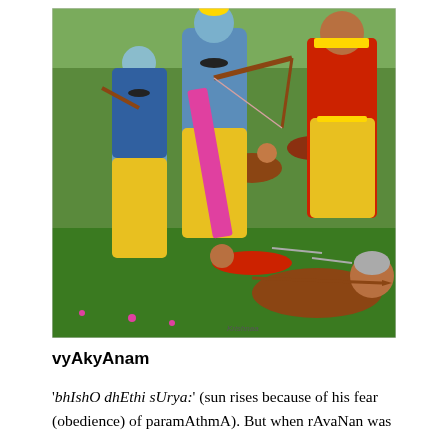[Figure (illustration): A colorful traditional Indian religious painting depicting blue-skinned divine figures (Ram and Lakshman) wielding bows and arrows, dressed in yellow and gold garments with ornaments, battling fallen warrior figures on a green grassy background. Multiple fallen enemies are shown on the ground.]
vyAkyAnam
'bhIshO dhEthi sUrya:' (sun rises because of his fear (obedience) of paramAthmA). But when rAvaNan was